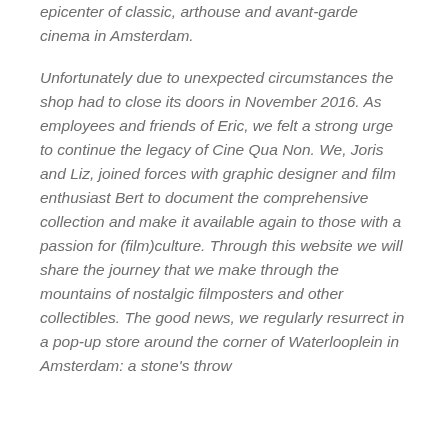epicenter of classic, arthouse and avant-garde cinema in Amsterdam.
Unfortunately due to unexpected circumstances the shop had to close its doors in November 2016. As employees and friends of Eric, we felt a strong urge to continue the legacy of Cine Qua Non. We, Joris and Liz, joined forces with graphic designer and film enthusiast Bert to document the comprehensive collection and make it available again to those with a passion for (film)culture. Through this website we will share the journey that we make through the mountains of nostalgic filmposters and other collectibles. The good news, we regularly resurrect in a pop-up store around the corner of Waterlooplein in Amsterdam: a stone's throw